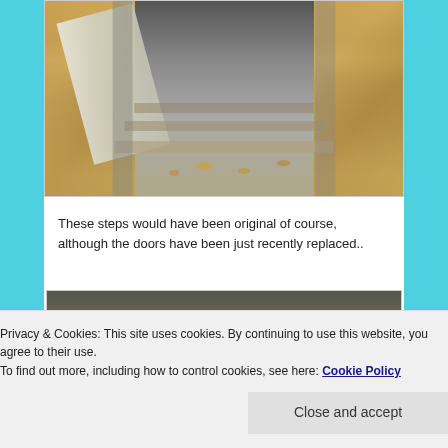[Figure (photo): View looking down into a basement or cellar entrance with concrete steps. OSB plywood boards and wood planks lean against the sides. The entry shows old dirt-covered concrete steps leading down into a dark tunnel-like space.]
These steps would have been original of course, although the doors have been just recently replaced..
[Figure (photo): Partial view of a second outdoor photo, partially obscured by the cookie consent banner. Shows dark ground and vegetation.]
Privacy & Cookies: This site uses cookies. By continuing to use this website, you agree to their use.
To find out more, including how to control cookies, see here: Cookie Policy
Close and accept